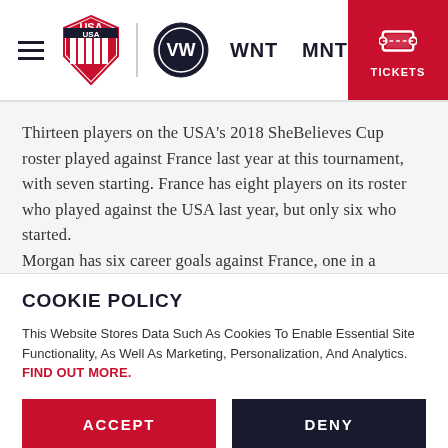[Figure (screenshot): USA Soccer website header with hamburger menu, USA Soccer logo, Volkswagen logo, WNT and MNT navigation links, and red Tickets button]
Thirteen players on the USA's 2018 SheBelieves Cup roster played against France last year at this tournament, with seven starting. France has eight players on its roster who played against the USA last year, but only six who started.

Morgan has six career goals against France, one in a
COOKIE POLICY
This Website Stores Data Such As Cookies To Enable Essential Site Functionality, As Well As Marketing, Personalization, And Analytics. FIND OUT MORE.
ACCEPT    DENY